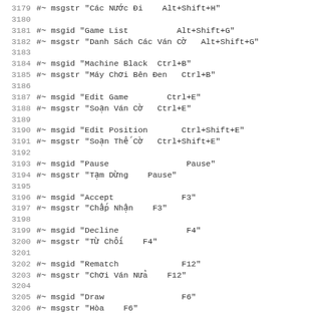3179 #~ msgstr "Các Nước Đi    Alt+Shift+H"
3180
3181 #~ msgid "Game List          Alt+Shift+G"
3182 #~ msgstr "Danh Sách Các Ván Cờ   Alt+Shift+G"
3183
3184 #~ msgid "Machine Black  Ctrl+B"
3185 #~ msgstr "Máy Chơi Bên Đen   Ctrl+B"
3186
3187 #~ msgid "Edit Game        Ctrl+E"
3188 #~ msgstr "Soạn Ván Cờ   Ctrl+E"
3189
3190 #~ msgid "Edit Position       Ctrl+Shift+E"
3191 #~ msgstr "Soạn Thế Cờ   Ctrl+Shift+E"
3192
3193 #~ msgid "Pause                Pause"
3194 #~ msgstr "Tạm Dừng    Pause"
3195
3196 #~ msgid "Accept              F3"
3197 #~ msgstr "Chấp Nhận    F3"
3198
3199 #~ msgid "Decline              F4"
3200 #~ msgstr "Từ Chối    F4"
3201
3202 #~ msgid "Rematch             F12"
3203 #~ msgstr "Chơi Ván Nửa    F12"
3204
3205 #~ msgid "Draw                F6"
3206 #~ msgstr "Hòa    F6"
3207
3208 #~ msgid "Adjourn             F7"
3209 #~ msgstr "   F7"
3210